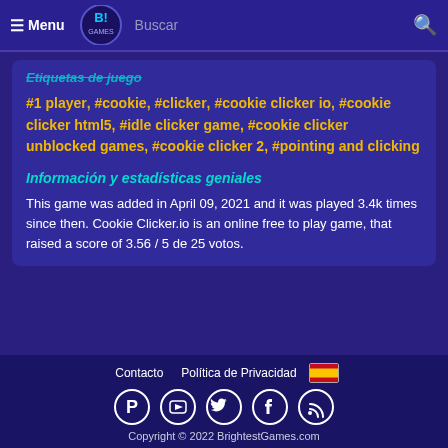≡ Menu  Buscar
Etiquetas de juego
#1 player, #cookie, #clicker, #cookie clicker io, #cookie clicker html5, #idle clicker game, #cookie clicker unblocked games, #cookie clicker 2, #pointing and clicking
Información y estadísticas geniales
This game was added in April 09, 2021 and it was played 3.4k times since then. Cookie Clicker.io is an online free to play game, that raised a score of 3.56 / 5 de 25 votos.
Contacto  Política de Privacidad  Copyright © 2022 BrightestGames.com